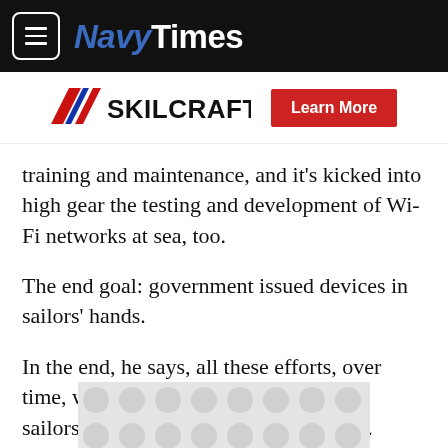NavyTimes
[Figure (logo): SKILCRAFT logo with diagonal stripe and Learn More red button]
training and maintenance, and it's kicked into high gear the testing and development of Wi-Fi networks at sea, too.
The end goal: government issued devices in sailors' hands.
In the end, he says, all these efforts, over time, will end up with smart devices in sailors hands and being used on the job.
[Figure (other): Advertisement placeholder banner with circular dot pattern]